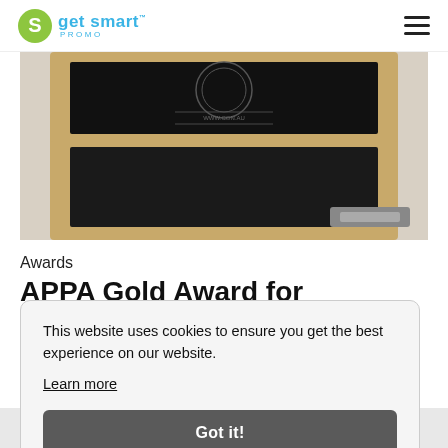get smart PROMO
[Figure (photo): Open wooden box with black interior lining, lid open showing a dark branded insert, USB drive or similar item partially visible at bottom right]
Awards
APPA Gold Award for National Tradeshow & Conference Packaging
This website uses cookies to ensure you get the best experience on our website. Learn more
Got it!
[Figure (photo): Partial view of a platinum award plaque or certificate visible at the bottom of the page]